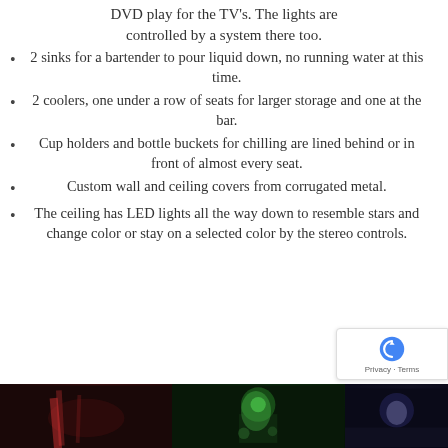DVD play for the TV's. The lights are controlled by a system there too.
2 sinks for a bartender to pour liquid down, no running water at this time.
2 coolers, one under a row of seats for larger storage and one at the bar.
Cup holders and bottle buckets for chilling are lined behind or in front of almost every seat.
Custom wall and ceiling covers from corrugated metal.
The ceiling has LED lights all the way down to resemble stars and change color or stay on a selected color by the stereo controls.
[Figure (photo): Three photographs of a nightclub/party interior showing colorful LED lighting and people]